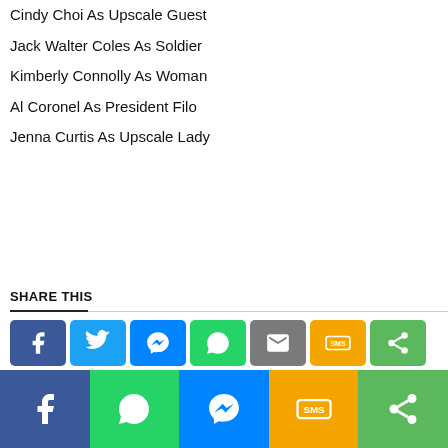Cindy Choi As Upscale Guest
Jack Walter Coles As Soldier
Kimberly Connolly As Woman
Al Coronel As President Filo
Jenna Curtis As Upscale Lady
SHARE THIS
[Figure (infographic): Social media share buttons: Facebook, Twitter, Messenger, WhatsApp, Email, SMS, Share; and a bottom bar with Facebook, WhatsApp, Messenger, SMS, Share buttons]